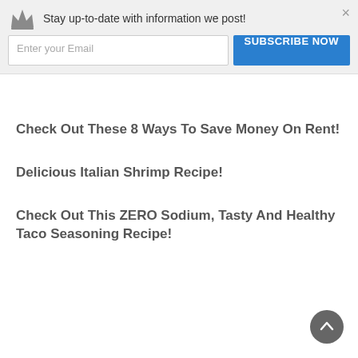[Figure (screenshot): Email newsletter subscription banner with crown logo, text 'Stay up-to-date with information we post!', email input field, 'SUBSCRIBE NOW' blue button, and close (×) button.]
Check Out These 8 Ways To Save Money On Rent!
Delicious Italian Shrimp Recipe!
Check Out This ZERO Sodium, Tasty And Healthy Taco Seasoning Recipe!